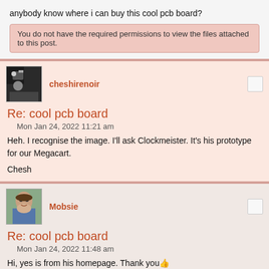anybody know where i can buy this cool pcb board?
You do not have the required permissions to view the files attached to this post.
cheshirenoir
Re: cool pcb board
Mon Jan 24, 2022 11:21 am
Heh. I recognise the image. I'll ask Clockmeister. It's his prototype for our Megacart.
Chesh
Mobsie
Re: cool pcb board
Mon Jan 24, 2022 11:48 am
Hi, yes is from his homepage. Thank you👍